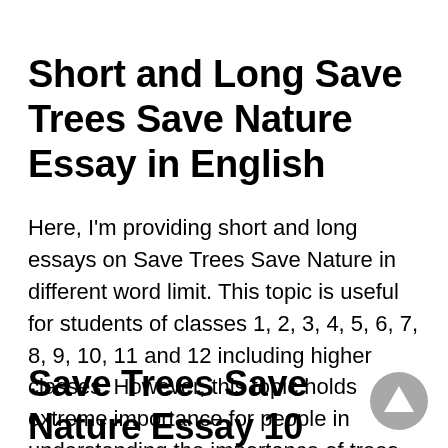Short and Long Save Trees Save Nature Essay in English
Here, I'm providing short and long essays on Save Trees Save Nature in different word limit. This topic is useful for students of classes 1, 2, 3, 4, 5, 6, 7, 8, 9, 10, 11 and 12 including higher classes. However, this topic holds extreme importance for people in understanding the importance of trees in our life.
Save Trees Save Nature Essay 10